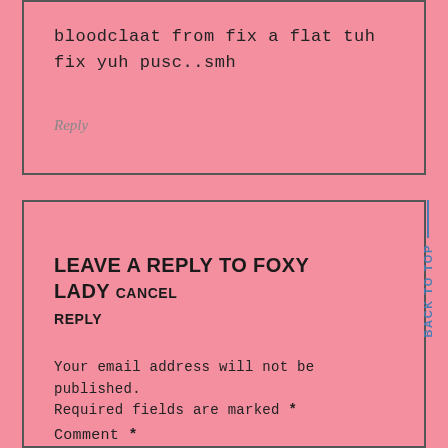bloodclaat from fix a flat tuh fix yuh pusc..smh
Reply
LEAVE A REPLY TO FOXY LADY CANCEL REPLY
Your email address will not be published. Required fields are marked *
Comment *